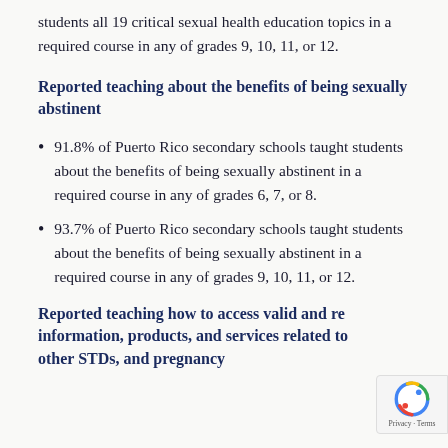students all 19 critical sexual health education topics in a required course in any of grades 9, 10, 11, or 12.
Reported teaching about the benefits of being sexually abstinent
91.8% of Puerto Rico secondary schools taught students about the benefits of being sexually abstinent in a required course in any of grades 6, 7, or 8.
93.7% of Puerto Rico secondary schools taught students about the benefits of being sexually abstinent in a required course in any of grades 9, 10, 11, or 12.
Reported teaching how to access valid and reliable information, products, and services related to HIV, other STDs, and pregnancy